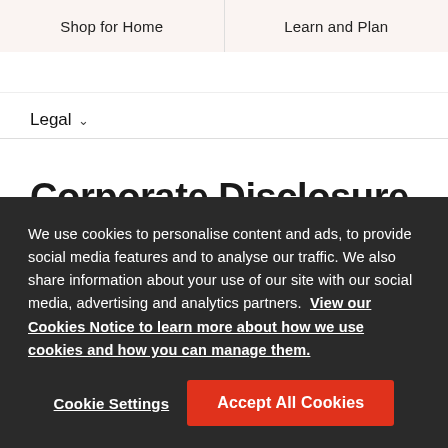Shop for Home | Learn and Plan
Legal ▾
Corporate Disclosure in Compliance with California Transparency in Supply Chains
We use cookies to personalise content and ads, to provide social media features and to analyse our traffic. We also share information about your use of our site with our social media, advertising and analytics partners. View our Cookies Notice to learn more about how we use cookies and how you can manage them.
Cookie Settings | Accept All Cookies